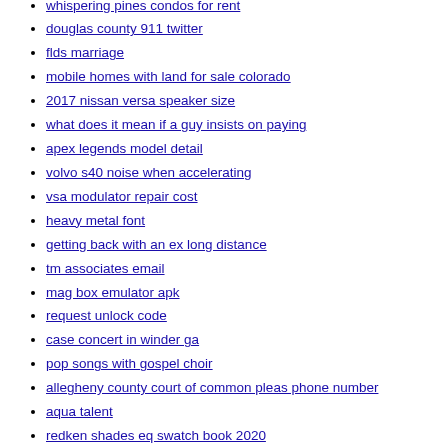whispering pines condos for rent
douglas county 911 twitter
flds marriage
mobile homes with land for sale colorado
2017 nissan versa speaker size
what does it mean if a guy insists on paying
apex legends model detail
volvo s40 noise when accelerating
vsa modulator repair cost
heavy metal font
getting back with an ex long distance
tm associates email
mag box emulator apk
request unlock code
case concert in winder ga
pop songs with gospel choir
allegheny county court of common pleas phone number
aqua talent
redken shades eq swatch book 2020
arctic liquid freezer ii fan direction
wing chun training book
sptarkov mods
samba valid users ad group
he wasn t good for you
infinix hard reset